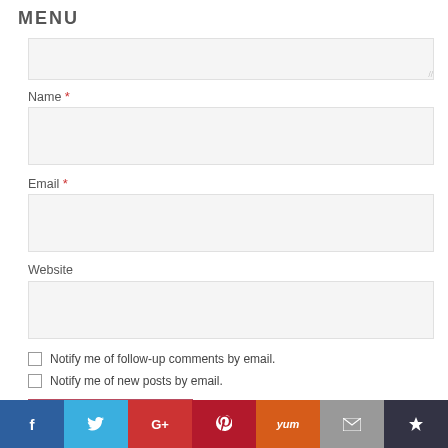MENU
Name *
Email *
Website
Notify me of follow-up comments by email.
Notify me of new posts by email.
POST COMMENT
This site uses Akismet to reduce spam. Learn how your comment data is processed.
[Figure (screenshot): Social media sharing bar with icons for Facebook, Twitter, Google+, Pinterest, Yummly, Email, and Crown/bookmark]